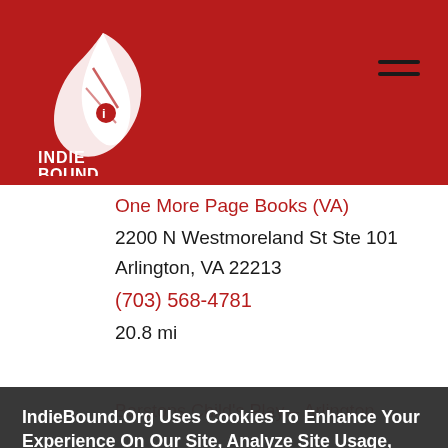[Figure (logo): IndieBound logo — white stylized feather/leaf mark with 'INDIE BOUND' text below on red background]
One More Page Books (VA)
2200 N Westmoreland St Ste 101
Arlington, VA 22213
(703) 568-4781
20.8 mi
Barstons Child's Play – Arlington
IndieBound.Org Uses Cookies To Enhance Your Experience On Our Site, Analyze Site Usage, And Assist In Our Marketing Efforts. By Clicking Accept, You Agree To The Storing Of Cookies On Your Device. View Our Cookie Policy.
Give me more info
Accept all Cookies